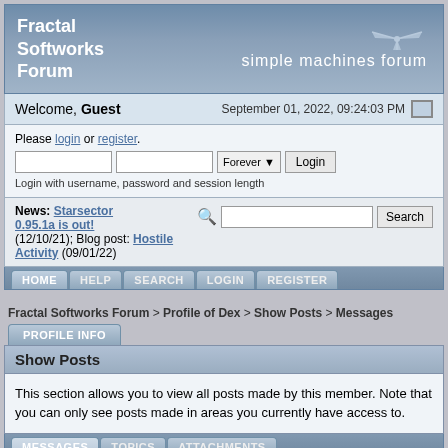Fractal Softworks Forum | simple machines forum
Welcome, Guest   September 01, 2022, 09:24:03 PM
Please login or register. Login with username, password and session length
News: Starsector 0.95.1a is out! (12/10/21); Blog post: Hostile Activity (09/01/22)
HOME  HELP  SEARCH  LOGIN  REGISTER
Fractal Softworks Forum > Profile of Dex > Show Posts > Messages
PROFILE INFO
Show Posts
This section allows you to view all posts made by this member. Note that you can only see posts made in areas you currently have access to.
MESSAGES  TOPICS  ATTACHMENTS
Messages